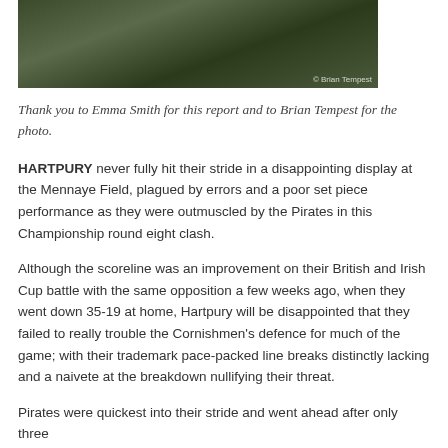[Figure (photo): Rugby players in action on a grass field, one player being tackled. Photo credit: © Brian Tempest]
Thank you to Emma Smith for this report and to Brian Tempest for the photo.
HARTPURY never fully hit their stride in a disappointing display at the Mennaye Field, plagued by errors and a poor set piece performance as they were outmuscled by the Pirates in this Championship round eight clash.
Although the scoreline was an improvement on their British and Irish Cup battle with the same opposition a few weeks ago, when they went down 35-19 at home, Hartpury will be disappointed that they failed to really trouble the Cornishmen's defence for much of the game; with their trademark pace-packed line breaks distinctly lacking and a naivete at the breakdown nullifying their threat.
Pirates were quickest into their stride and went ahead after only three